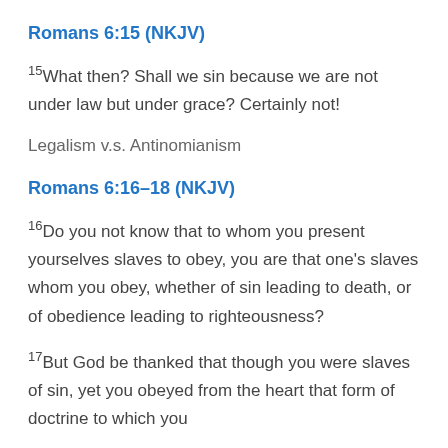Romans 6:15 (NKJV)
15What then? Shall we sin because we are not under law but under grace? Certainly not!
Legalism v.s. Antinomianism
Romans 6:16–18 (NKJV)
16Do you not know that to whom you present yourselves slaves to obey, you are that one's slaves whom you obey, whether of sin leading to death, or of obedience leading to righteousness?
17But God be thanked that though you were slaves of sin, yet you obeyed from the heart that form of doctrine to which you